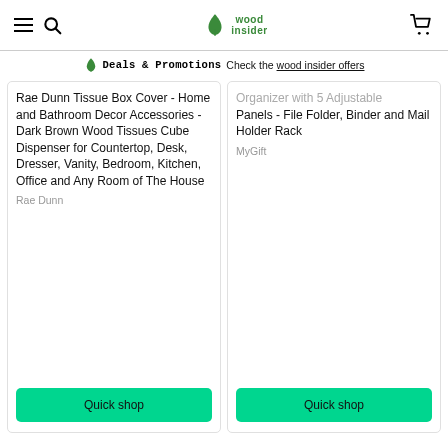wood insider — navigation header with hamburger menu, search, logo, and cart icon
Deals & Promotions Check the wood insider offers
Rae Dunn Tissue Box Cover - Home and Bathroom Decor Accessories - Dark Brown Wood Tissues Cube Dispenser for Countertop, Desk, Dresser, Vanity, Bedroom, Kitchen, Office and Any Room of The House
Rae Dunn
Organizer with 5 Adjustable Panels - File Folder, Binder and Mail Holder Rack
MyGift